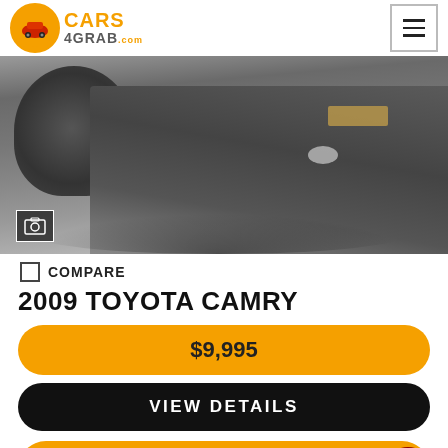CARS 4GRAB .com
[Figure (photo): Close-up photo of the front lower bumper and wheel of a gray Toyota Camry parked on asphalt pavement. A gallery icon is visible in the bottom left corner of the photo.]
COMPARE
2009 TOYOTA CAMRY
$9,995
VIEW DETAILS
[Figure (photo): Partial view of another vehicle at the bottom of the page, partially cut off.]